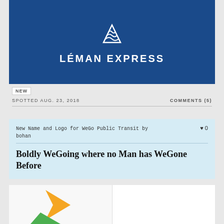[Figure (logo): Léman Express logo: white stylized mountain/wave icon above the text LÉMAN EXPRESS in white bold uppercase letters on a dark blue background]
NEW
SPOTTED AUG. 23, 2018
COMMENTS (5)
New Name and Logo for WeGo Public Transit by bohan
♥ 0
Boldly WeGoing where no Man has WeGone Before
[Figure (screenshot): Partial screenshot of a logo image on white background, showing colored arrow/pinwheel shapes in orange and green at the bottom]